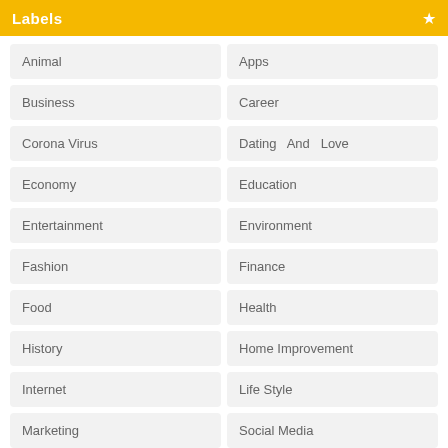Labels
Animal
Apps
Business
Career
Corona Virus
Dating And Love
Economy
Education
Entertainment
Environment
Fashion
Finance
Food
Health
History
Home Improvement
Internet
Life Style
Marketing
Social Media
Sports
Success Stories